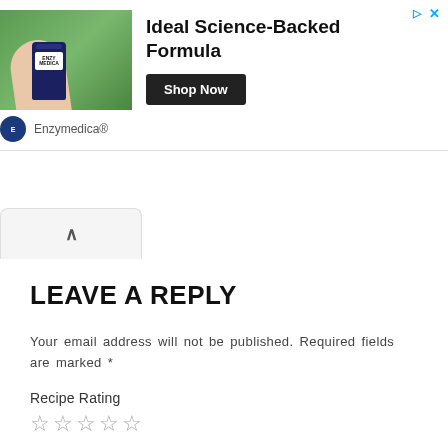[Figure (screenshot): Advertisement banner for Enzymedica showing a hand holding a supplement bottle with green plant background. Bold text reads 'Ideal Science-Backed Formula' with a 'Shop Now' button and Enzymedica brand name below.]
[Figure (screenshot): Collapse/chevron bar with upward-pointing caret icon on light gray background]
LEAVE A REPLY
Your email address will not be published. Required fields are marked *
Recipe Rating
☆☆☆☆☆
Comment